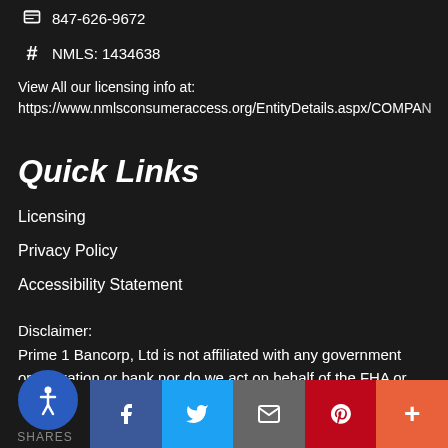847-626-9672
NMLS: 1434638
View All our licensing info at:
https://www.nmlsconsumeraccess.org/EntityDetails.aspx/COMPANY
Quick Links
Licensing
Privacy Policy
Accessibility Statement
Disclaimer:
Prime 1 Bancorp, Ltd is not affiliated with any government organization or bank nor do we act on behalf of the FHA or VA.
SHARES | Facebook | Twitter | Email | Pinterest | More